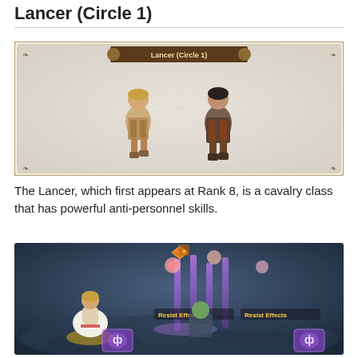Lancer (Circle 1)
[Figure (screenshot): Game character selection screen showing two Lancer character sprites on a light background with decorative border and 'Lancer (Circle 1)' title banner]
The Lancer, which first appears at Rank 8, is a cavalry class that has powerful anti-personnel skills.
[Figure (screenshot): In-game combat screenshot showing a character in a white dress on a battlefield with purple magical lance effects labeled 'Resist Effects' hitting enemies on a dark blue ground]